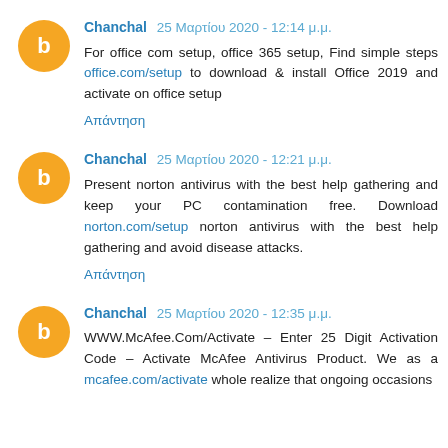Chanchal 25 Μαρτίου 2020 - 12:14 μ.μ.
For office com setup, office 365 setup, Find simple steps office.com/setup to download & install Office 2019 and activate on office setup
Απάντηση
Chanchal 25 Μαρτίου 2020 - 12:21 μ.μ.
Present norton antivirus with the best help gathering and keep your PC contamination free. Download norton.com/setup norton antivirus with the best help gathering and avoid disease attacks.
Απάντηση
Chanchal 25 Μαρτίου 2020 - 12:35 μ.μ.
WWW.McAfee.Com/Activate – Enter 25 Digit Activation Code – Activate McAfee Antivirus Product. We as a mcafee.com/activate whole realize that ongoing occasions